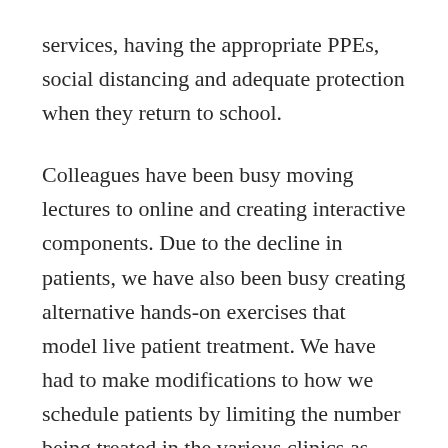services, having the appropriate PPEs, social distancing and adequate protection when they return to school.
Colleagues have been busy moving lectures to online and creating interactive components. Due to the decline in patients, we have also been busy creating alternative hands-on exercises that model live patient treatment. We have had to make modifications to how we schedule patients by limiting the number being treated in the various clinics as well as limiting the number of faculty, staff, and students that are in the building at any one time. It has taken a lot of hours of planning